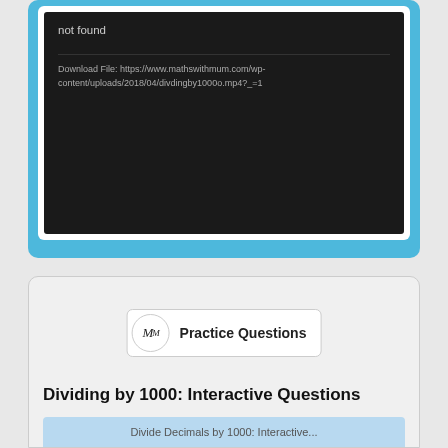[Figure (screenshot): Video player showing error: 'not found' with download file URL for divdingby1000o.mp4]
not found
Download File: https://www.mathswithmum.com/wp-content/uploads/2018/04/divdingby1000o.mp4?_=1
[Figure (screenshot): Practice Questions card with MathsWithMum logo and title 'Dividing by 1000: Interactive Questions']
Practice Questions
Dividing by 1000: Interactive Questions
Divide Decimals by 1000: Interactive...